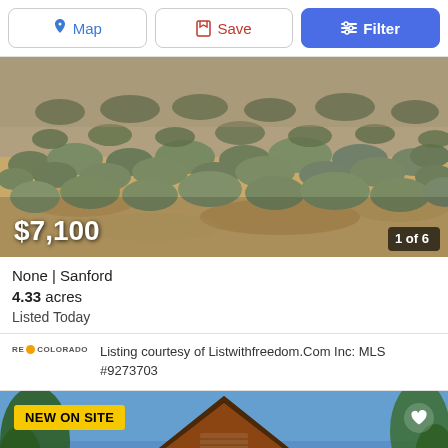Map | Save | Filter
[Figure (photo): Desert scrubland landscape with sandy soil and low green shrubs, showing a land parcel for sale in Sanford, Colorado. Price overlay shows $7,100 and photo counter shows 1 of 6.]
None | Sanford
4.33 acres
Listed Today
Listing courtesy of Listwithfreedom.Com Inc: MLS #9273703
[Figure (photo): New listing showing a wooden A-frame house with cedar siding against a blue sky with trees. Badge shows NEW ON SITE.]